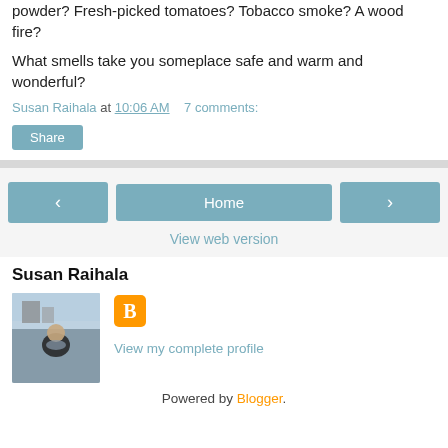powder? Fresh-picked tomatoes? Tobacco smoke? A wood fire?
What smells take you someplace safe and warm and wonderful?
Susan Raihala at 10:06 AM   7 comments:
Share
‹ Home ›
View web version
Susan Raihala
[Figure (photo): Photo of Susan Raihala outdoors with a building in background, wearing a dark jacket and scarf]
View my complete profile
Powered by Blogger.